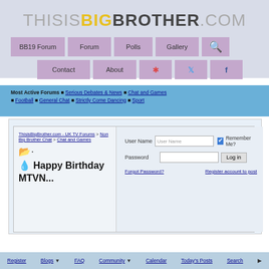[Figure (logo): ThisIsBigBrother.com website logo in header]
BB19 Forum | Forum | Polls | Gallery | Search | Contact | About | Google+ | Twitter | Facebook
Most Active Forums ■ Serious Debates & News ■ Chat and Games ■ Football ■ General Chat ■ Strictly Come Dancing ■ Sport
ThisisBigBrother.com - UK TV Forums > Non Big Brother Chat > Chat and Games  Happy Birthday MTVN...
User Name | Password | Remember Me? | Log in | Forgot Password? | Register account to post
Register  Blogs  FAQ  Community  Calendar  Today's Posts  Search